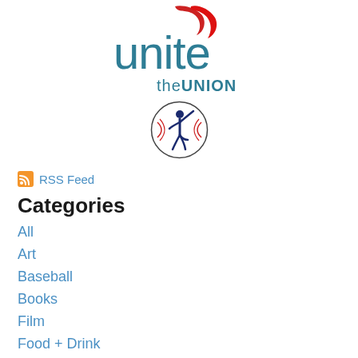[Figure (logo): Unite the Union logo — teal lowercase 'unite' text with red flame swoosh above, and 'theUNION' in smaller text below]
[Figure (logo): Baseball pitcher circular logo with navy blue player figure and red stitching lines on a white background with thin border]
RSS Feed
Categories
All
Art
Baseball
Books
Film
Food + Drink
French Letters
Leamington Letters
Media